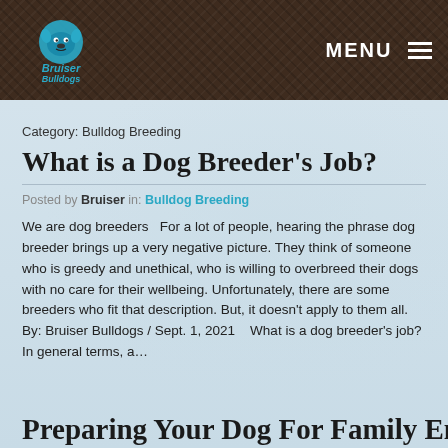[Figure (logo): Bruiser Bulldogs logo with bulldog graphic and teal text on dark brown textured background header]
MENU
Category: Bulldog Breeding
What is a Dog Breeder's Job?
Posted by Bruiser in: Bulldog Breeding
We are dog breeders   For a lot of people, hearing the phrase dog breeder brings up a very negative picture. They think of someone who is greedy and unethical, who is willing to overbreed their dogs with no care for their wellbeing. Unfortunately, there are some breeders who fit that description. But, it doesn't apply to them all.   By: Bruiser Bulldogs / Sept. 1, 2021     What is a dog breeder's job? In general terms, a...
Preparing Your Dog For Family English Bulldog